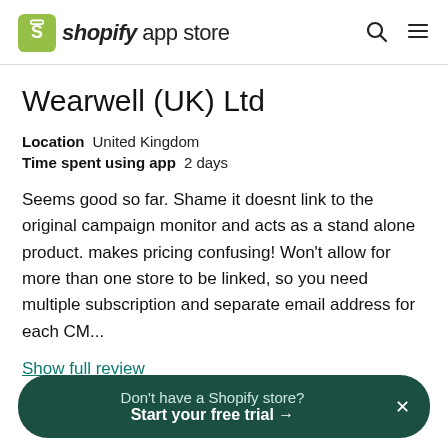shopify app store
Wearwell (UK) Ltd
Location   United Kingdom
Time spent using app   2 days
Seems good so far. Shame it doesnt link to the original campaign monitor and acts as a stand alone product. makes pricing confusing! Won't allow for more than one store to be linked, so you need multiple subscription and separate email address for each CM...
Show full review
Don't have a Shopify store? Start your free trial →